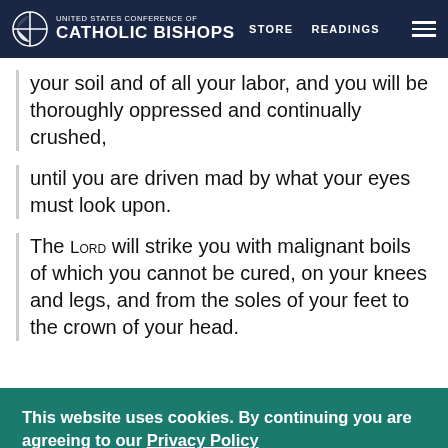United States Conference of Catholic Bishops | STORE  READINGS
your soil and of all your labor, and you will be thoroughly oppressed and continually crushed,
until you are driven mad by what your eyes must look upon.
The Lord will strike you with malignant boils of which you cannot be cured, on your knees and legs, and from the soles of your feet to the crown of your head.
This website uses cookies. By continuing you are agreeing to our Privacy Policy
CLOSE  X